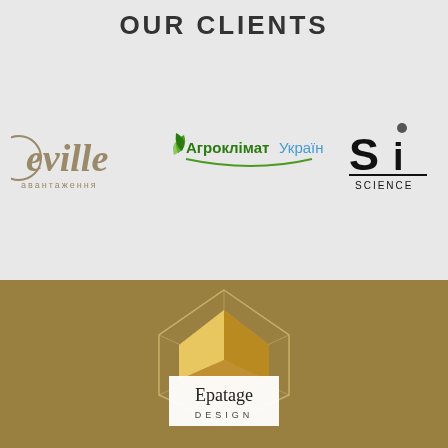OUR CLIENTS
[Figure (logo): Neville logo with Ukrainian text 'авантаження' below]
[Figure (logo): АгрокліматУкраїна logo with green leaf and teal text]
[Figure (logo): SI Science logo in black bold lettering]
[Figure (logo): Epatage Design logo with geometric diamond shape on gold background]